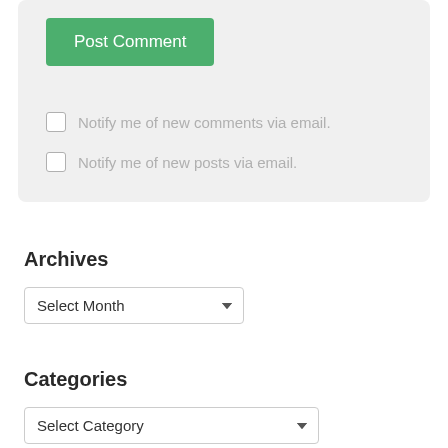Post Comment
Notify me of new comments via email.
Notify me of new posts via email.
Archives
Select Month
Categories
Select Category